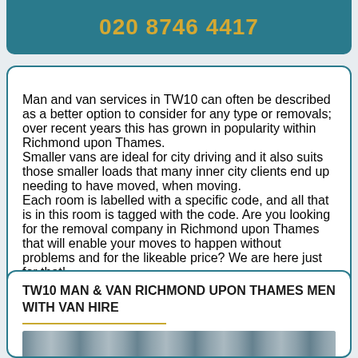020 8746 4417
Man and van services in TW10 can often be described as a better option to consider for any type or removals; over recent years this has grown in popularity within Richmond upon Thames.
Smaller vans are ideal for city driving and it also suits those smaller loads that many inner city clients end up needing to have moved, when moving.
Each room is labelled with a specific code, and all that is in this room is tagged with the code. Are you looking for the removal company in Richmond upon Thames that will enable your moves to happen without problems and for the likeable price? We are here just for that!
TW10 MAN & VAN RICHMOND UPON THAMES MEN WITH VAN HIRE
[Figure (photo): Partial photo strip visible at bottom of page]